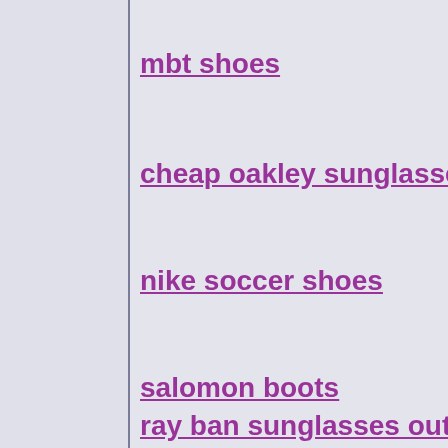mbt shoes
cheap oakley sunglasses
nike soccer shoes
salomon boots
ray ban sunglasses outlet